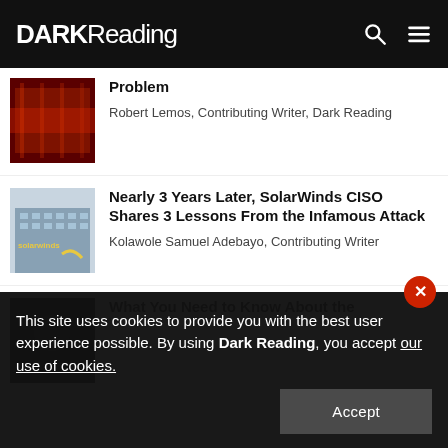DARK Reading
Problem — Robert Lemos, Contributing Writer, Dark Reading
[Figure (photo): Dark red illuminated screen or server rack]
Nearly 3 Years Later, SolarWinds CISO Shares 3 Lessons From the Infamous Attack — Kolawole Samuel Adebayo, Contributing Writer
[Figure (photo): SolarWinds building exterior with logo]
What You Need to Know About the
[Figure (photo): Dark image, partially visible]
This site uses cookies to provide you with the best user experience possible. By using Dark Reading, you accept our use of cookies.